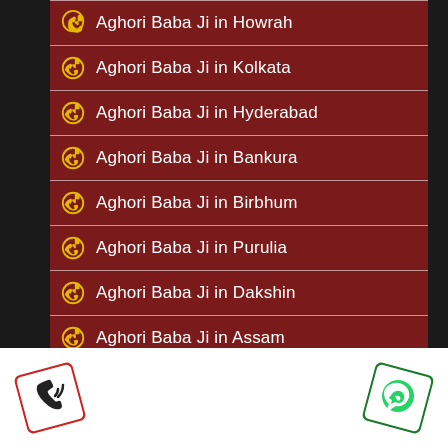Aghori Baba Ji in Howrah
Aghori Baba Ji in Kolkata
Aghori Baba Ji in Hyderabad
Aghori Baba Ji in Bankura
Aghori Baba Ji in Birbhum
Aghori Baba Ji in Purulia
Aghori Baba Ji in Dakshin
Aghori Baba Ji in Assam
Aghori Baba Ji in Guwahati
Aghori Baba Ji in Dibrugarh
Aghori Baba Ji in Dhubri
Aghori Baba Ji in Nagaon
Aghori Baba Ji in Jorhat
[Figure (illustration): Phone/call icon button in red square on white footer bar]
[Figure (illustration): WhatsApp icon button in green square on white footer bar]